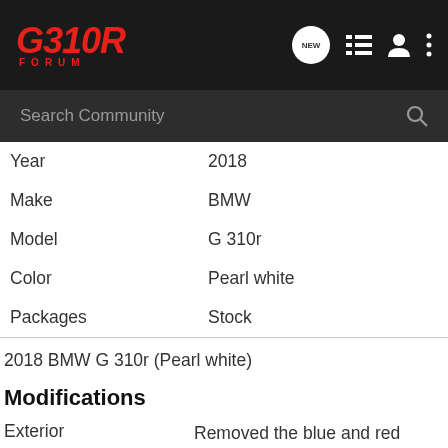G310R FORUM
| Field | Value |
| --- | --- |
| Year | 2018 |
| Make | BMW |
| Model | G 310r |
| Color | Pearl white |
| Packages | Stock |
2018 BMW G 310r (Pearl white)
Modifications
Exterior    Removed the blue and red stickers and I think it gives it a much cleaner and beautiful look.